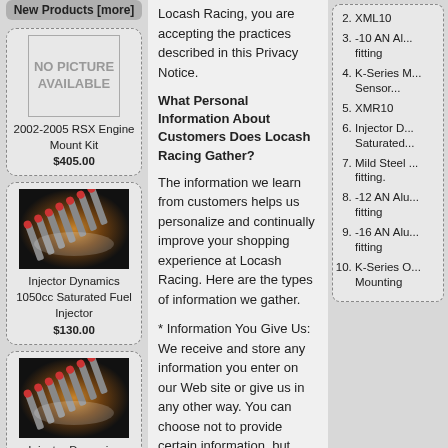New Products [more]
[Figure (photo): No picture available placeholder box]
2002-2005 RSX Engine Mount Kit
$405.00
[Figure (photo): Injector Dynamics 1050cc Saturated Fuel Injector product photo]
Injector Dynamics 1050cc Saturated Fuel Injector
$130.00
[Figure (photo): Injector Dynamics 725cc Saturated Fuel Injector product photo]
Injector Dynamics 725cc Saturated Fuel Injector
$118.00
Information
Shipping & Returns
Privacy Notice
Conditions of Use
Contact Us
Site Map
Locash Racing, you are accepting the practices described in this Privacy Notice.
What Personal Information About Customers Does Locash Racing Gather?
The information we learn from customers helps us personalize and continually improve your shopping experience at Locash Racing. Here are the types of information we gather.
* Information You Give Us: We receive and store any information you enter on our Web site or give us in any other way. You can choose not to provide certain information, but then you might not be able to take advantage of many of our features. We use the information that you provide for such purposes as responding to your requests, fulfilling orders, customizing future shopping for you,
2. XML10
3. -10 AN Al... fitting
4. K-Series M... Sensor...
5. XMR10
6. Injector D... Saturated...
7. Mild Steel ... fitting.
8. -12 AN Alu... fitting
9. -16 AN Alu... fitting
10. K-Series O... Mounting